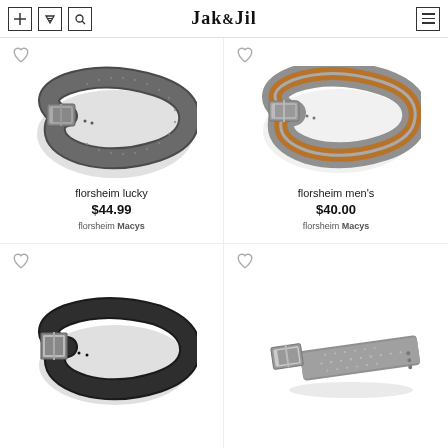Jak&Jil
[Figure (photo): Dark gray perforated belt with silver rectangular buckle, coiled]
florsheim lucky
$44.99
florsheim Macys
[Figure (photo): Two-tone gray and tan/brown belt with silver buckle, coiled]
florsheim men's
$40.00
florsheim Macys
[Figure (photo): Black leather belt with square silver buckle, coiled]
[Figure (photo): Gray perforated belt with silver rectangular buckle, partially uncoiled]